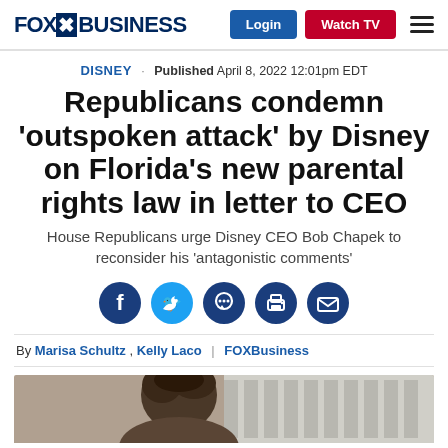FOX BUSINESS | Login | Watch TV
DISNEY · Published April 8, 2022 12:01pm EDT
Republicans condemn 'outspoken attack' by Disney on Florida's new parental rights law in letter to CEO
House Republicans urge Disney CEO Bob Chapek to reconsider his 'antagonistic comments'
By Marisa Schultz , Kelly Laco | FOXBusiness
[Figure (photo): Photo of a person, partially visible, with dark hair against a light background]